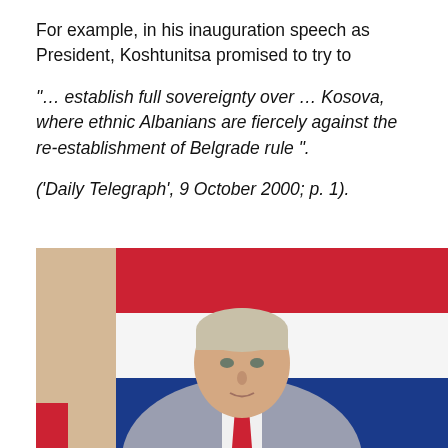For example, in his inauguration speech as President, Koshtunitsa promised to try to
“… establish full sovereignty over … Kosova, where ethnic Albanians are fiercely against the re-establishment of Belgrade rule ”.
(‘Daily Telegraph’, 9 October 2000; p. 1).
[Figure (photo): Photograph of a middle-aged man with grey-blond hair wearing a grey suit and red tie, standing in front of a large portrait or mural featuring red, white, and blue flag-like colors (Serbian tricolor), with beige/cream walls visible on the left side.]